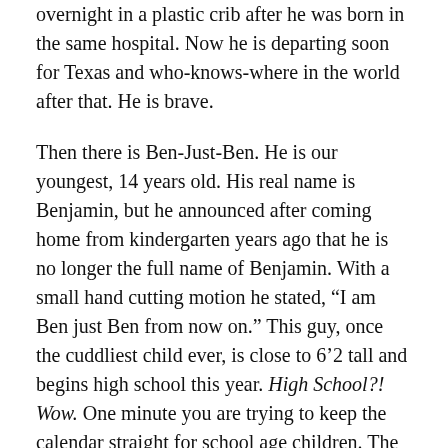overnight in a plastic crib after he was born in the same hospital. Now he is departing soon for Texas and who-knows-where in the world after that. He is brave.
Then there is Ben-Just-Ben. He is our youngest, 14 years old. His real name is Benjamin, but he announced after coming home from kindergarten years ago that he is no longer the full name of Benjamin. With a small hand cutting motion he stated, “I am Ben just Ben from now on.” This guy, once the cuddliest child ever, is close to 6’2 tall and begins high school this year. High School?! Wow. One minute you are trying to keep the calendar straight for school age children. The next minute you grieve them leaving home.
I am a risk taker of sorts, but now it is our kids turn to take risks. No matter that them leaving is completely